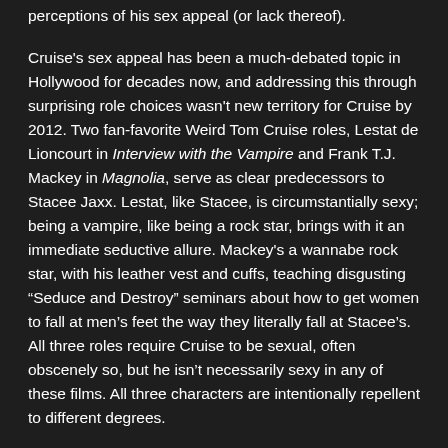perceptions of his sex appeal (or lack thereof).
Cruise's sex appeal has been a much-debated topic in Hollywood for decades now, and addressing this through surprising role choices wasn't new territory for Cruise by 2012. Two fan-favorite Weird Tom Cruise roles, Lestat de Lioncourt in Interview with the Vampire and Frank T.J. Mackey in Magnolia, serve as clear predecessors to Stacee Jaxx. Lestat, like Stacee, is circumstantially sexy; being a vampire, like being a rock star, brings with it an immediate seductive allure. Mackey's a wannabe rock star, with his leather vest and cuffs, teaching disgusting “Seduce and Destroy” seminars about how to get women to fall at men’s feet the way they literally fall at Stacee’s. All three roles require Cruise to be sexual, often obscenely so, but he isn’t necessarily sexy in any of these films. All three characters are intentionally repellent to different degrees.